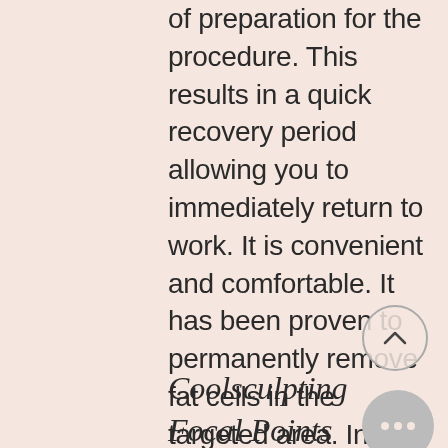of preparation for the procedure. This results in a quick recovery period allowing you to immediately return to work. It is convenient and comfortable. It has been proven to permanently remove fat cells in the targeted area. In fact, in a 2013 study of 528 patients in the Aesthetic Surgery Journal, it was demonstrated that CoolSculpting is safe and effective with consistently high patient satisfaction, and today, there have been over 8 million successful procedures worldwide!
Coolsculpting Focal Points for Women